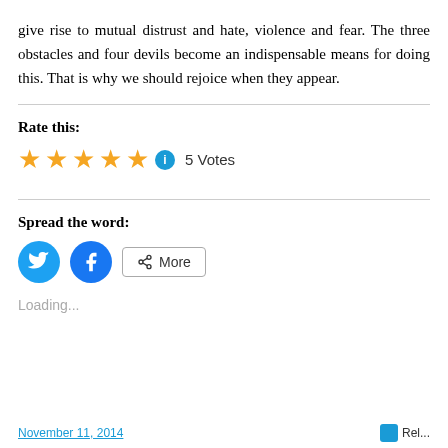give rise to mutual distrust and hate, violence and fear. The three obstacles and four devils become an indispensable means for doing this. That is why we should rejoice when they appear.
Rate this:
[Figure (other): Five gold stars rating with info icon and '5 Votes' text]
Spread the word:
[Figure (other): Social sharing buttons: Twitter (blue bird icon), Facebook (blue f icon), and More button with share icon]
Loading...
November 11, 2014